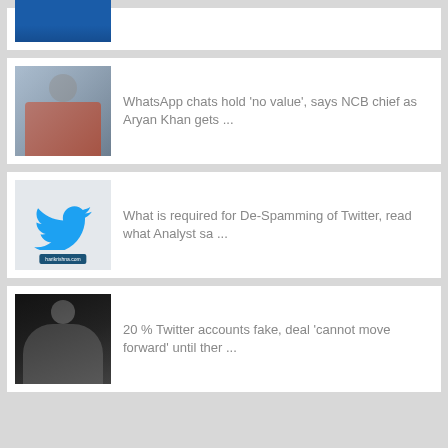[Figure (photo): Partial view of a cricket player in blue India jersey]
[Figure (photo): Aryan Khan portrait photo]
WhatsApp chats hold 'no value', says NCB chief as Aryan Khan gets ...
[Figure (logo): Twitter bird logo on light grey background]
What is required for De-Spamming of Twitter, read what Analyst sa ...
[Figure (photo): Elon Musk in grey suit against dark background]
20 % Twitter accounts fake, deal 'cannot move forward' until ther ...